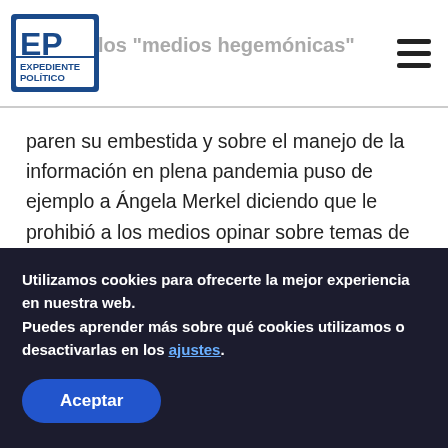Expediente Político — medios hegemónicos
paren su embestida y sobre el manejo de la información en plena pandemia puso de ejemplo a Ángela Merkel diciendo que le prohibió a los medios opinar sobre temas de cuidado sanitario.
Esta curiosa interpretación de la ex modelo contrasta con que la canciller alemana, en retirada, siempre defendió la libertad de expresión
Utilizamos cookies para ofrecerte la mejor experiencia en nuestra web.
Puedes aprender más sobre qué cookies utilizamos o desactivarlas en los ajustes.